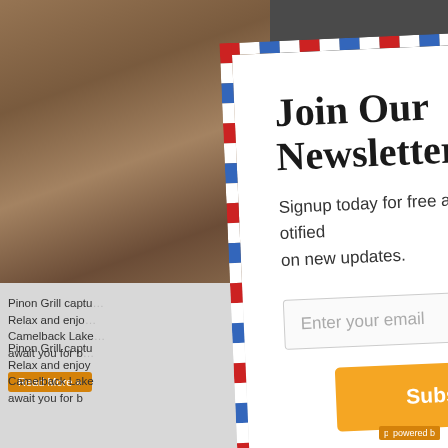[Figure (screenshot): Background of a restaurant website showing a dimmed restaurant interior photo at top, text about Pinon Grill, a Read More button, Rita's Kitchen heading with stars, and a food image at bottom. Partially obscured by a newsletter modal overlay.]
Join Our Newsletter
Signup today for free and be the first to get notified on new updates.
Enter your email
Subscribe
And don't worry, we hate spam too! You can unsubscribe anytime.